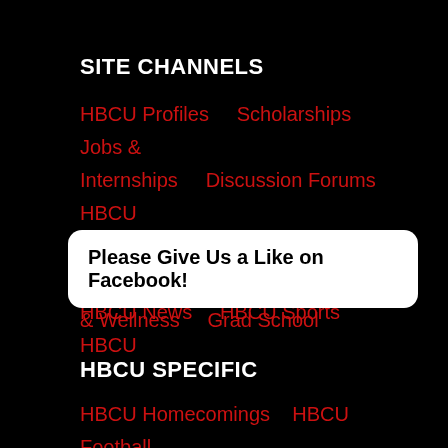SITE CHANNELS
HBCU Profiles    Scholarships    Jobs & Internships    Discussion Forums    HBCU Alumni    HBCU Students    Member Blogs    HBCU News    HBCU Sports    HBCU
Please Give Us a Like on Facebook!
& Wellness    Grad School
HBCU SPECIFIC
HBCU Homecomings    HBCU Football Classics    HBCU Top 50 Employers    HBCU Apparel    Famous HBCU Alumni    HBCU